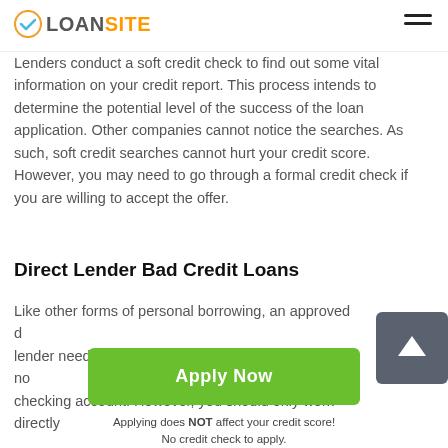LOANSITE
Lenders conduct a soft credit check to find out some vital information on your credit report. This process intends to determine the potential level of the success of the loan application. Other companies cannot notice the searches. As such, soft credit searches cannot hurt your credit score. However, you may need to go through a formal credit check if you are willing to accept the offer.
Direct Lender Bad Credit Loans
Like other forms of personal borrowing, an approved direct lender needs to approve your payday loans Alamo no checking account. However, you should only work directly
[Figure (other): Green Apply Now button with scroll-to-top button overlay]
Applying does NOT affect your credit score!
No credit check to apply.